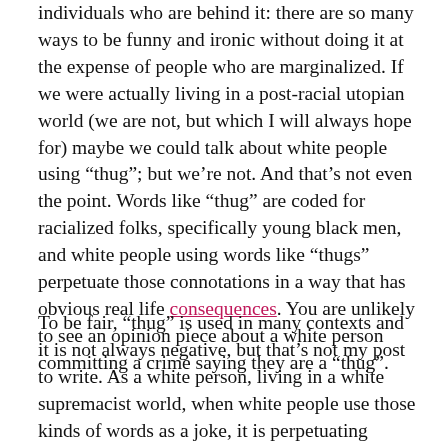individuals who are behind it: there are so many ways to be funny and ironic without doing it at the expense of people who are marginalized. If we were actually living in a post-racial utopian world (we are not, but which I will always hope for) maybe we could talk about white people using “thug”; but we’re not. And that’s not even the point. Words like “thug” are coded for racialized folks, specifically young black men, and white people using words like “thugs” perpetuate those connotations in a way that has obvious real life consequences. You are unlikely to see an opinion piece about a white person committing a crime saying they are a “thug”.
To be fair, “thug” is used in many contexts and it is not always negative, but that’s not my post to write. As a white person, living in a white supremacist world, when white people use those kinds of words as a joke, it is perpetuating racism and violence. The tone of the website/cookbook finds its humor in the way it acknowledges the racialized reality behind the word “thug” because the whole rationalization of the humour here is “haha, thugs can’t be vegan/be interested in eating healthy so let’s stick some swear words in our recipes and